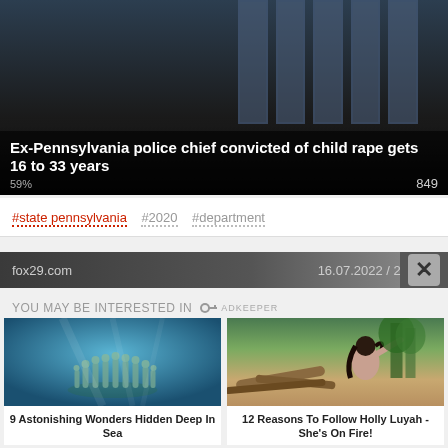[Figure (photo): Dark interior photo of a building with large windows with grid bars, dimly lit]
Ex-Pennsylvania police chief convicted of child rape gets 16 to 33 years
59%  849
#state pennsylvania  #2020  #department
fox29.com  16.07.2022 / 21
YOU MAY BE INTERESTED IN
[Figure (photo): Underwater sculpture of human figures standing in a circle, ocean water, blue-green tones]
9 Astonishing Wonders Hidden Deep In Sea
[Figure (photo): Woman with dark hair on a beach with driftwood, white top, trees in background]
12 Reasons To Follow Holly Luyah - She's On Fire!